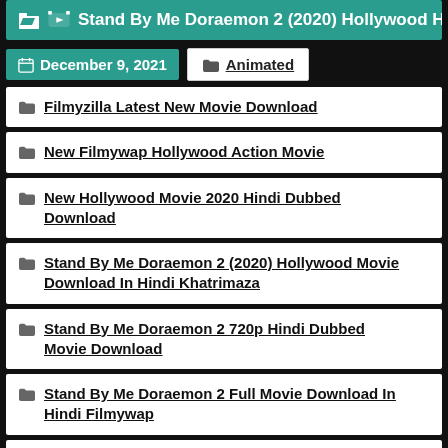🎬 Stand By Me Doraemon 2 (2020) Hollywood H...
📅 December 9, 2021   📁 Animated
Filmyzilla Latest New Movie Download
New Filmywap Hollywood Action Movie
New Hollywood Movie 2020 Hindi Dubbed Download
Stand By Me Doraemon 2 (2020) Hollywood Movie Download In Hindi Khatrimaza
Stand By Me Doraemon 2 720p Hindi Dubbed Movie Download
Stand By Me Doraemon 2 Full Movie Download In Hindi Filmywap
Stand By Me Doraemon 2 Full Movie In Hindi Download Filmyzilla